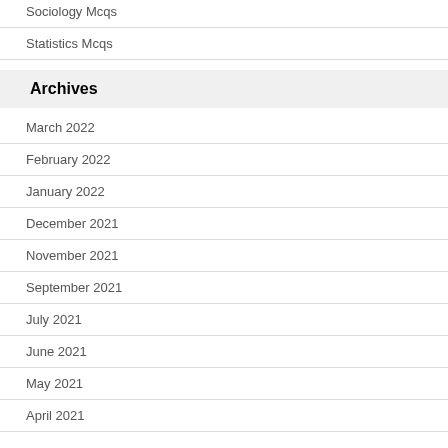Sociology Mcqs
Statistics Mcqs
Archives
March 2022
February 2022
January 2022
December 2021
November 2021
September 2021
July 2021
June 2021
May 2021
April 2021